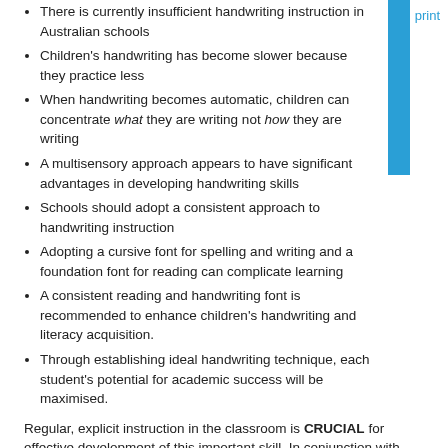There is currently insufficient handwriting instruction in Australian schools
Children's handwriting has become slower because they practice less
When handwriting becomes automatic, children can concentrate what they are writing not how they are writing
A multisensory approach appears to have significant advantages in developing handwriting skills
Schools should adopt a consistent approach to handwriting instruction
Adopting a cursive font for spelling and writing and a foundation font for reading can complicate learning
A consistent reading and handwriting font is recommended to enhance children's handwriting and literacy acquisition.
Through establishing ideal handwriting technique, each student's potential for academic success will be maximised.
Regular, explicit instruction in the classroom is CRUCIAL for effective development of this important skill. In conjunction with this, a CONSISTENT approach throughout a school is vital so that children have the best opportunity to master the complex task of handwriting.
The ultimate aim of handwriting instruction in schools is for the student to achieve legibility and speed. Once the vision...